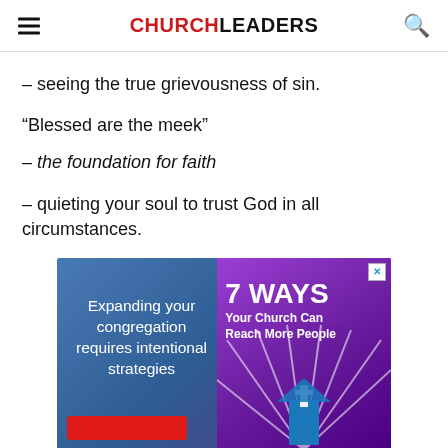CHURCHLEADERS
– seeing the true grievousness of sin.
“Blessed are the meek”
– the foundation for faith
– quieting your soul to trust God in all circumstances.
[Figure (other): Advertisement banner for a church growth resource titled '7 WAYS Your Church Can Reach More People'. Left side has blue gradient background with text 'Expanding your congregation requires intentional strategies' and a red button. Right side has purple background with '7 WAYS Your Church Can Reach More People' text and a church/rays graphic.]